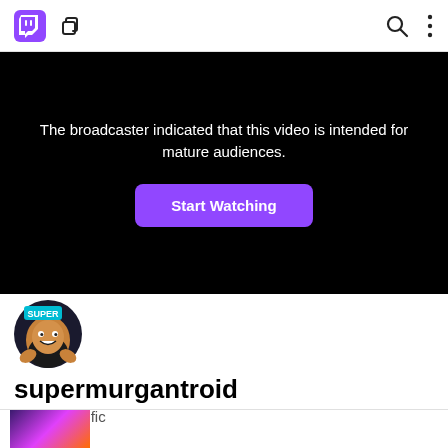[Figure (screenshot): Twitch app top navigation bar with Twitch logo (purple), copy/multidevice icon, search icon, and three-dot menu icon]
[Figure (screenshot): Black video player area showing mature content warning message and a purple 'Start Watching' button]
The broadcaster indicated that this video is intended for mature audiences.
Start Watching
[Figure (photo): supermurgantroid channel avatar: circular profile image showing a bearded person with 'SUPER' text label]
supermurgantroid
Very scientific
[Figure (screenshot): Small video thumbnail preview at the bottom of the page]